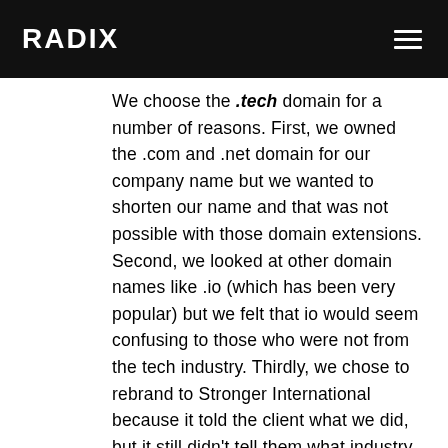RADIX
We choose the .tech domain for a number of reasons. First, we owned the .com and .net domain for our company name but we wanted to shorten our name and that was not possible with those domain extensions. Second, we looked at other domain names like .io (which has been very popular) but we felt that io would seem confusing to those who were not from the tech industry. Thirdly, we chose to rebrand to Stronger International because it told the client what we did, but it still didn't tell them what industry we were in. We liked Stronger but wanted people to know that we were in technology. The .tech domain name was a great solution. Our name became: Stronger.tech – short, powerful, and conveyed what we do and which industry we belong to. We love our domain name. We get lots of questions and compliments for it. It is unique, but so...